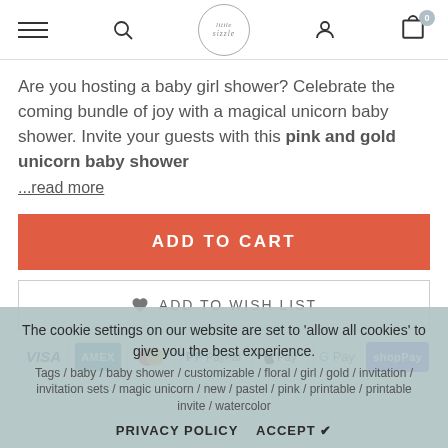Navigation bar with hamburger menu, search, logo (little sizzle), user account, and cart (0)
Are you hosting a baby girl shower? Celebrate the coming bundle of joy with a magical unicorn baby shower. Invite your guests with this pink and gold unicorn baby shower ...read more
ADD TO CART
♥ ADD TO WISH LIST
[Figure (other): Payment method icons: VISA, AMEX, Mastercard, PayPal, Apple Pay, G Pay, shopPay]
The cookie settings on our website are set to 'allow all cookies' to give you the best experience.
Tags / baby / baby shower / customizable / floral / girl / gold / invitation / invitation sets / magic unicorn / new / pastel / pink / printable / printable invite / watercolor
PRIVACY POLICY   ACCEPT ✔